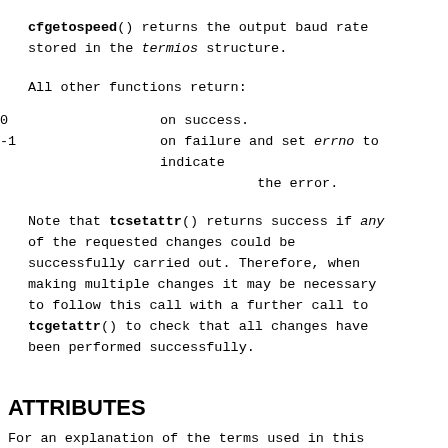cfgetospeed() returns the output baud rate stored in the termios structure.
All other functions return:
| 0 | on success. |
| -1 | on failure and set errno to indicate the error. |
Note that tcsetattr() returns success if any of the requested changes could be successfully carried out. Therefore, when making multiple changes it may be necessary to follow this call with a further call to tcgetattr() to check that all changes have been performed successfully.
ATTRIBUTES
For an explanation of the terms used in this section, see attributes(7).